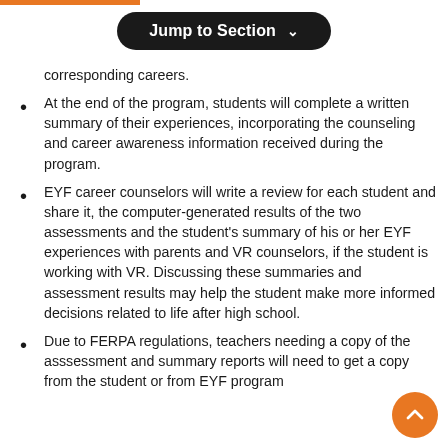corresponding careers.
At the end of the program, students will complete a written summary of their experiences, incorporating the counseling and career awareness information received during the program.
EYF career counselors will write a review for each student and share it, the computer-generated results of the two assessments and the student’s summary of his or her EYF experiences with parents and VR counselors, if the student is working with VR. Discussing these summaries and assessment results may help the student make more informed decisions related to life after high school.
Due to FERPA regulations, teachers needing a copy of the asssessment and summary reports will need to get a copy from the student or from EYF program